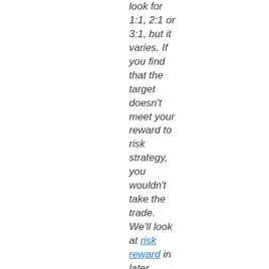look for 1:1, 2:1 or 3:1, but it varies. If you find that the target doesn't meet your reward to risk strategy, you wouldn't take the trade. We'll look at risk reward in later modules
Bear Flag Trade:
Bear Flag pole length is 6.7 pts.  We subtract